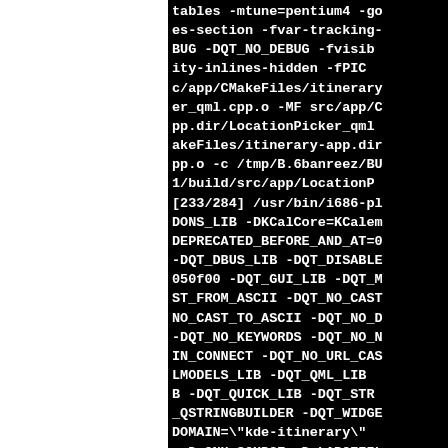tables -mtune=pentium4 -go
es-section -fvar-tracking-
BUG -DQT_NO_DEBUG -fvisib
ity-inlines-hidden -fPIC 
c/app/CMakeFiles/itinerary
er_qml.cpp.o -MF src/app/C
pp.dir/LocationPicker_qml
akeFiles/itinerary-app.dir
pp.o -c /tmp/B.6banreez/BU
1/build/src/app/LocationP
[233/284] /usr/bin/i686-pl
DONS_LIB -DKCalCore=KCalem
DEPRECATED_BEFORE_AND_AT=0
-DQT_DBUS_LIB -DQT_DISABLE
050f00 -DQT_GUI_LIB -DQT_M
ST_FROM_ASCII -DQT_NO_CAST
NO_CAST_TO_ASCII -DQT_NO_D
-DQT_NO_KEYWORDS -DQT_NO_N
IN_CONNECT -DQT_NO_URL_CAS
LMODELS_LIB -DQT_QML_LIB 
B -DQT_QUICK_LIB -DQT_STR
_QSTRINGBUILDER -DQT_WIDGE
DOMAIN=\"kde-itinerary\" 
-D_GNU_SOURCE -D_LARGEFIL